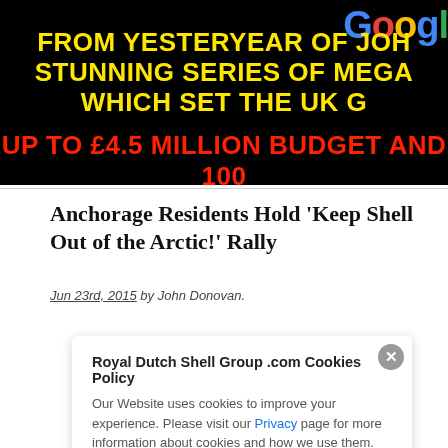[Figure (screenshot): Black banner image with Google logo partially visible top right, yellow bold text 'FROM YESTERYEAR OF JOH...' and 'STUNNING SERIES OF MEGA...' and 'WHICH SET THE UK G...' and red bold text 'UP TO £4.5 MILLION BUDGET AND 100...']
Anchorage Residents Hold ‘Keep Shell Out of the Arctic!’ Rally
Jun 23rd, 2015 by John Donovan.
Royal Dutch Shell Group .com Cookies Policy
Our Website uses cookies to improve your experience. Please visit our Privacy page for more information about cookies and how we use them.